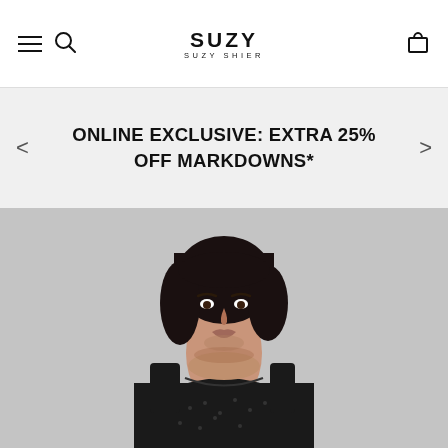SUZY SUZY SHIER
ONLINE EXCLUSIVE: EXTRA 25% OFF MARKDOWNS*
[Figure (photo): A young woman with a dark bob haircut wearing a black sleeveless textured dress, photographed from the waist up against a light grey background.]